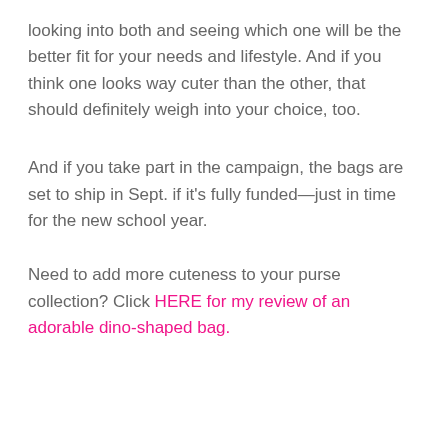looking into both and seeing which one will be the better fit for your needs and lifestyle. And if you think one looks way cuter than the other, that should definitely weigh into your choice, too.
And if you take part in the campaign, the bags are set to ship in Sept. if it's fully funded—just in time for the new school year.
Need to add more cuteness to your purse collection? Click HERE for my review of an adorable dino-shaped bag.